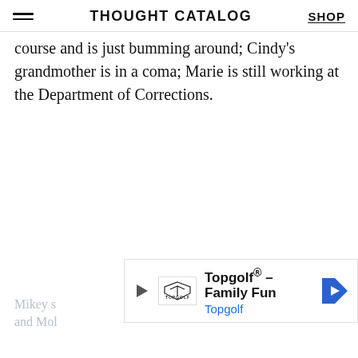THOUGHT CATALOG | SHOP
course and is just bumming around; Cindy's grandmother is in a coma; Marie is still working at the Department of Corrections.
[Figure (other): Advertisement banner for Topgolf - Family Fun, with Topgolf logo, play button icon, and blue navigation arrow icon]
Mikey s... and Mol...